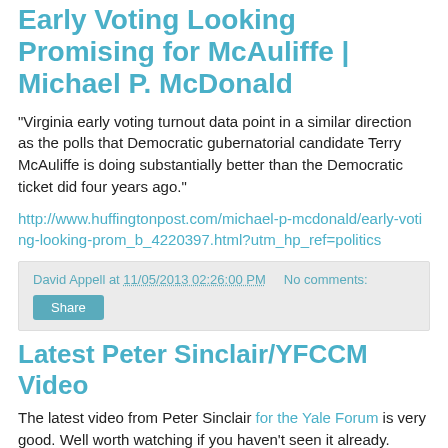Early Voting Looking Promising for McAuliffe | Michael P. McDonald
"Virginia early voting turnout data point in a similar direction as the polls that Democratic gubernatorial candidate Terry McAuliffe is doing substantially better than the Democratic ticket did four years ago."
http://www.huffingtonpost.com/michael-p-mcdonald/early-voting-looking-prom_b_4220397.html?utm_hp_ref=politics
David Appell at 11/05/2013 02:26:00 PM   No comments:
Share
Latest Peter Sinclair/YFCCM Video
The latest video from Peter Sinclair for the Yale Forum is very good. Well worth watching if you haven't seen it already.